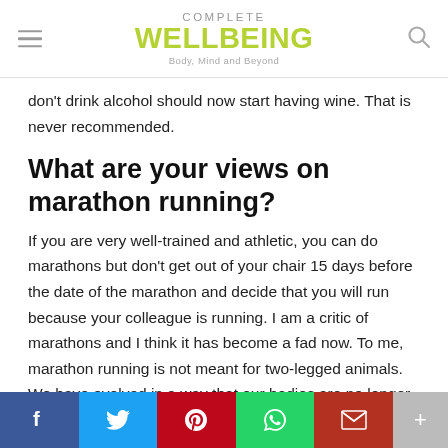COMPLETE WELLBEING Body, Mind and Beyond
don't drink alcohol should now start having wine. That is never recommended.
What are your views on marathon running?
If you are very well-trained and athletic, you can do marathons but don't get out of your chair 15 days before the date of the marathon and decide that you will run because your colleague is running. I am a critic of marathons and I think it has become a fad now. To me, marathon running is not meant for two-legged animals. We have evolved in a way that our bodies are no longer suited to running. Every Mumbai Marathon has at least one person dying
Social share bar: Facebook, Twitter, Pinterest, WhatsApp, Gmail, More